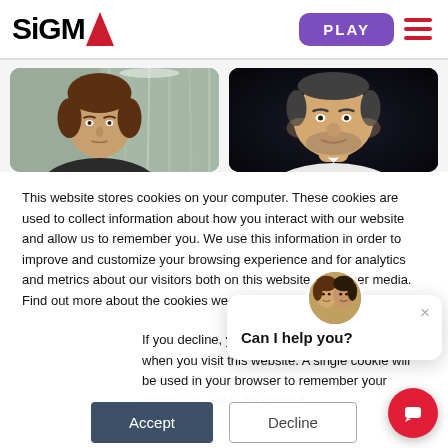[Figure (logo): SiGMA logo with red triangle accent]
[Figure (screenshot): Purple PLAY button and red hamburger menu icon in header]
[Figure (photo): Two portrait photos side by side: a man with brown hair on left against foil background, and a heavier man in white shirt on dark background on right]
This website stores cookies on your computer. These cookies are used to collect information about how you interact with our website and allow us to remember you. We use this information in order to improve and customize your browsing experience and for analytics and metrics about our visitors both on this website and other media. Find out more about the cookies we use, see our Priv
If you decline, your information won't be tracked when you visit this website. A single cookie will be used in your browser to remember your preference not to be tracked.
[Figure (screenshot): Chat popup with avatar of two women, close X button, and text 'Can I help you?']
Can I help you?
[Figure (screenshot): Accept button (dark blue) and Decline button (outlined)]
[Figure (screenshot): Red circular chat FAB button with chat icon in bottom right]